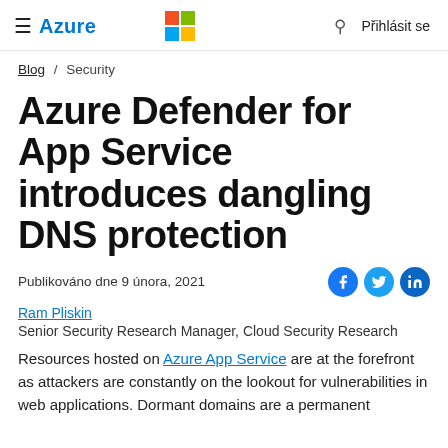≡ Azure  [Microsoft logo]  🔍  Přihlásit se
Blog / Security
Azure Defender for App Service introduces dangling DNS protection
Publikováno dne 9 února, 2021
Ram Pliskin
Senior Security Research Manager, Cloud Security Research
Resources hosted on Azure App Service are at the forefront as attackers are constantly on the lookout for vulnerabilities in web applications. Dormant domains are a permanent problem, the doubling of both segments that have